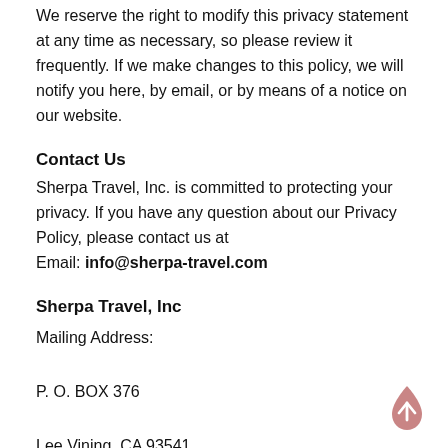We reserve the right to modify this privacy statement at any time as necessary, so please review it frequently. If we make changes to this policy, we will notify you here, by email, or by means of a notice on our website.
Contact Us
Sherpa Travel, Inc. is committed to protecting your privacy. If you have any question about our Privacy Policy, please contact us at
Email: info@sherpa-travel.com
Sherpa Travel, Inc
Mailing Address:

P. O. BOX 376

Lee Vining, CA 93541

Phone: 760-709-6068

Email: info@sherpa-travel.com
[Figure (other): Scroll-to-top button: pink/mauve teardrop shape with an upward arrow]